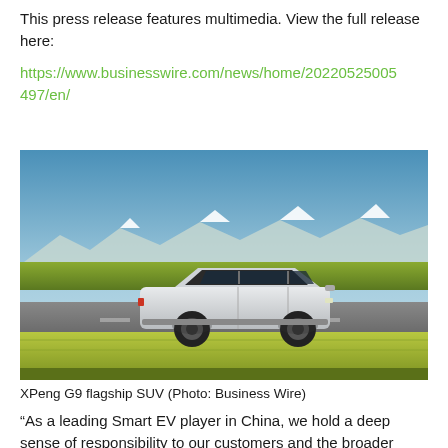This press release features multimedia. View the full release here:
https://www.businesswire.com/news/home/20220525005497/en/
[Figure (photo): XPeng G9 flagship SUV driving on a road with green grass fields on both sides and snow-capped mountains in the background under a blue sky.]
XPeng G9 flagship SUV (Photo: Business Wire)
“As a leading Smart EV player in China, we hold a deep sense of responsibility to our customers and the broader